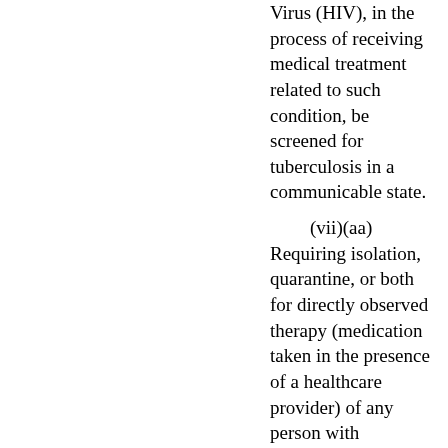Virus (HIV), in the process of receiving medical treatment related to such condition, be screened for tuberculosis in a communicable state.
(vii)(aa) Requiring isolation, quarantine, or both for directly observed therapy (medication taken in the presence of a healthcare provider) of any person with tuberculosis in a communicable state who has failed to comply with a daily self-administered course of